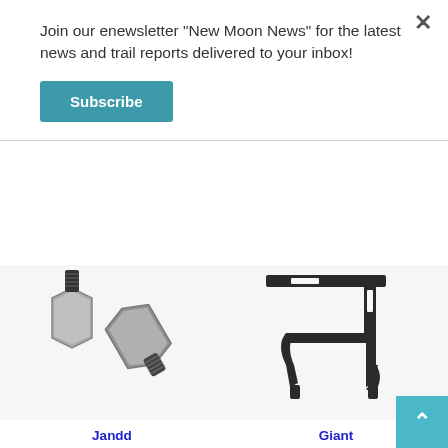Join our enewsletter "New Moon News" for the latest news and trail reports delivered to your inbox!
Subscribe
[Figure (photo): Two metal hex adapter bolts (Jandd Disc Brake/Fender Adaptors)]
Jandd
Disc Brake/Fender Adaptors
$16.95
[Figure (photo): Black metal fender bracket (Giant Rack-It Metro E - Fender Bracket)]
Giant
Rack-It Metro E - Fender Bracket
$7.50